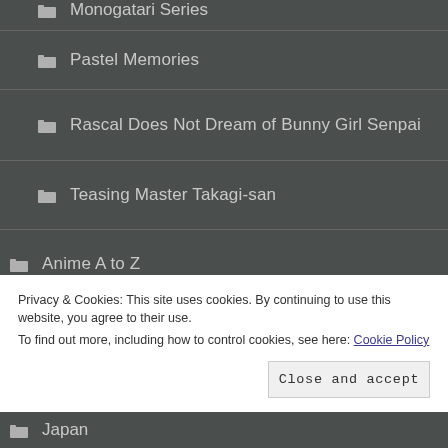Monogatari Series
Pastel Memories
Rascal Does Not Dream of Bunny Girl Senpai
Teasing Master Takagi-san
Anime A to Z
Anime Studio Challenge
Blog Posts
Privacy & Cookies: This site uses cookies. By continuing to use this website, you agree to their use.
To find out more, including how to control cookies, see here: Cookie Policy
Japan